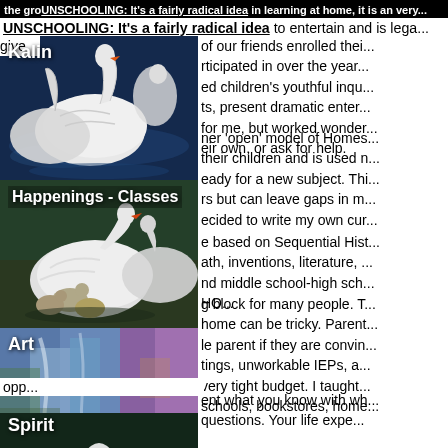UNSCHOOLING: It's a fairly radical idea to entertain and is legal... give... of our friends enrolled their... lear... participated in over the year... was... ed children's youthful inqu... writ... ts, present dramatic enter... pec... for me, but worked wonder... their... eir own, or ask for help.
[Figure (photo): Kalin - white swans on dark blue water]
[Figure (photo): Happenings - Classes - swans with cygnets]
CH... ner 'open' model of Homes... left... their children and is used... pu... eady for a new subject. Thi... hor... rs but can leave gaps in m... time... ecided to write my own cur...
[Figure (photo): Art - colorful abstract painting with blues and purples]
DIY... e based on Sequential Hist... Civ... ath, inventions, literature,... ran... nd middle school-high sch... HO...
This... g block for many people. T... tea... home can be tricky. Parent... Old... le parent if they are convin... the... tings, unworkable IEPs, a... We... very tight budget. I taught... scie... schools, bookstores, home... opp...
[Figure (photo): Spirit - white water lily flower on dark green background]
I be... ent what you know with wh... of t... questions. Your life expe...
[Figure (photo): Blog: Muse-ings - partial image at bottom]